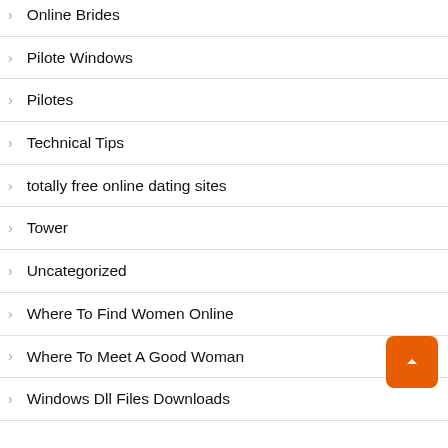Online Brides
Pilote Windows
Pilotes
Technical Tips
totally free online dating sites
Tower
Uncategorized
Where To Find Women Online
Where To Meet A Good Woman
Windows Dll Files Downloads